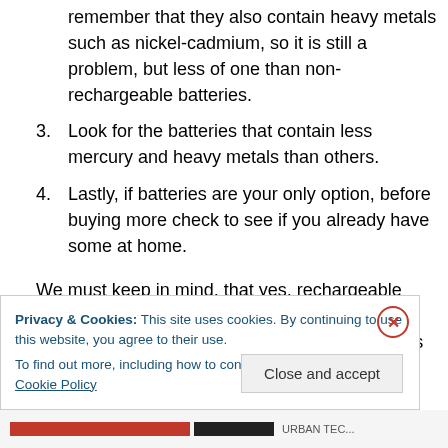remember that they also contain heavy metals such as nickel-cadmium, so it is still a problem, but less of one than non-rechargeable batteries.
3. Look for the batteries that contain less mercury and heavy metals than others.
4. Lastly, if batteries are your only option, before buying more check to see if you already have some at home.
We must keep in mind, that yes, rechargeable batteries result in a longer life span and use of fewer batteries. However, rechargeable batteries still contain heavy metals such as nickel-cadmium. They are far less problematic...
Privacy & Cookies: This site uses cookies. By continuing to use this website, you agree to their use.
To find out more, including how to control cookies, see here: Cookie Policy
Close and accept